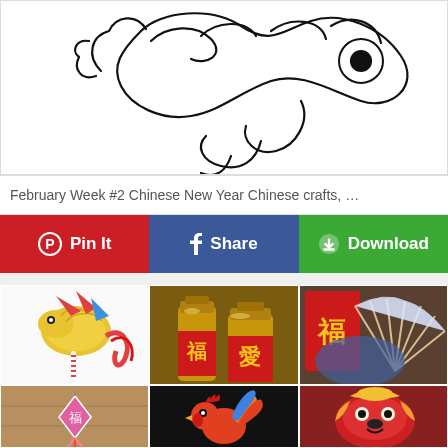[Figure (illustration): Line art drawing of a Chinese dragon or cloud creature with swirling body, large circular eye, and decorative curves on white background]
February Week #2 Chinese New Year Chinese crafts, …
Pin It  Share  Download
[Figure (photo): Grid of six photos showing Chinese New Year crafts: (1) colorful paper dragon on a striped straw with red ribbon, (2) gold-painted mason jars with red labels bearing Chinese characters 福 and 愛, (3) decorative folding fan with a red card, (4) pink diamond-shaped ornament with 福 character on wood background, (5) rooster paper craft on black background, (6) red lion/dragon pillow or stuffed toy craft]